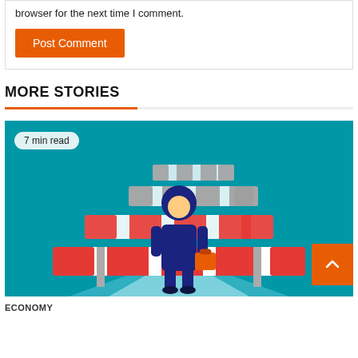browser for the next time I comment.
Post Comment
MORE STORIES
[Figure (illustration): Illustration of a business person in dark blue suit holding an orange briefcase, standing in front of red-and-white barrier/blockade signs on a teal/blue background. Badge reads '7 min read'.]
ECONOMY